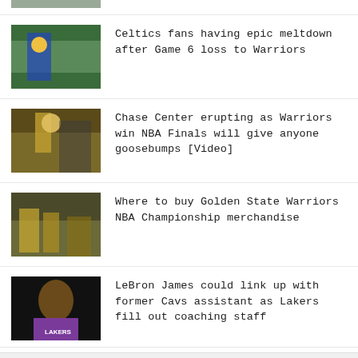[Figure (photo): Partial cropped photo at top of page, showing basketball players]
Celtics fans having epic meltdown after Game 6 loss to Warriors
Chase Center erupting as Warriors win NBA Finals will give anyone goosebumps [Video]
Where to buy Golden State Warriors NBA Championship merchandise
LeBron James could link up with former Cavs assistant as Lakers fill out coaching staff